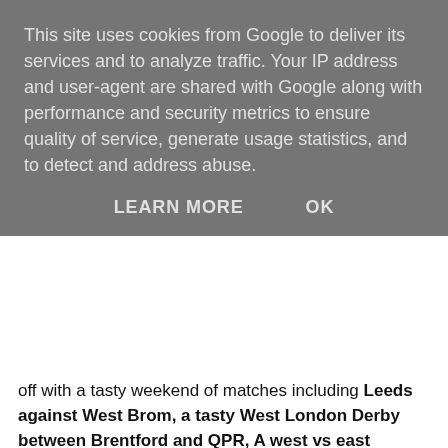This site uses cookies from Google to deliver its services and to analyze traffic. Your IP address and user-agent are shared with Google along with performance and security metrics to ensure quality of service, generate usage statistics, and to detect and address abuse.
LEARN MORE   OK
off with a tasty weekend of matches including Leeds against West Brom, a tasty West London Derby between Brentford and QPR, A west vs east Midlands derby as Aston Villa face Derby County and the small matter of the Steel City derby between Sheffield Wednesday and Sheffield United. The rest of March has plenty of mouth watering ties including Blackburn vs Preston, Norwich vs Swansea, Bristol City vs Leeds, the Second City derby between Birmingham and Aston Villa, Derby vs Stoke, Nottingham Forest vs Aston Villa, Norwich vs Hull, Leeds vs Sheffield United, Brentford vs West Brom, West Brom vs Birmingham, Sheffield United vs Bristol City and Middlesbrough vs Norwich. The Championship is heading for a brilliant finish at both ends of